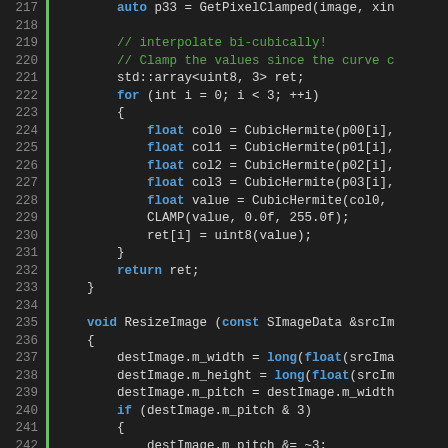[Figure (screenshot): C++ source code snippet showing bicubic interpolation and image resize functions, lines 217-245, dark theme code editor]